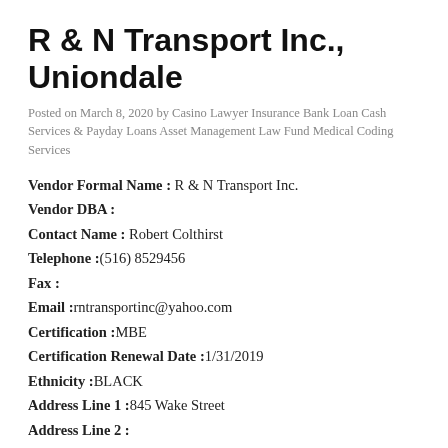R & N Transport Inc., Uniondale
Posted on March 8, 2020 by Casino Lawyer Insurance Bank Loan Cash Services & Payday Loans Asset Management Law Fund Medical Coding Services
Vendor Formal Name : R & N Transport Inc.
Vendor DBA :
Contact Name : Robert Colthirst
Telephone :(516) 8529456
Fax :
Email :rntransportinc@yahoo.com
Certification :MBE
Certification Renewal Date :1/31/2019
Ethnicity :BLACK
Address Line 1 :845 Wake Street
Address Line 2 :